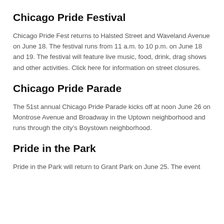Chicago Pride Festival
Chicago Pride Fest returns to Halsted Street and Waveland Avenue on June 18. The festival runs from 11 a.m. to 10 p.m. on June 18 and 19. The festival will feature live music, food, drink, drag shows and other activities. Click here for information on street closures.
Chicago Pride Parade
The 51st annual Chicago Pride Parade kicks off at noon June 26 on Montrose Avenue and Broadway in the Uptown neighborhood and runs through the city’s Boystown neighborhood.
Pride in the Park
Pride in the Park will return to Grant Park on June 25. The event